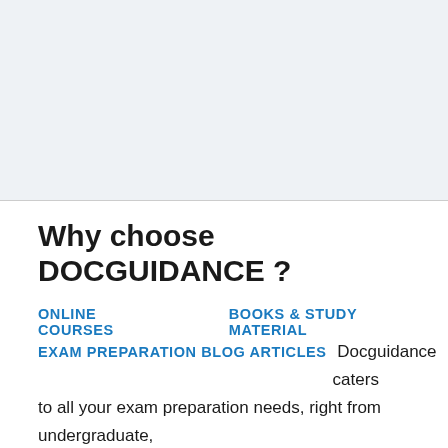[Figure (other): Top half blank/light blue-grey area representing a banner or image region]
Why choose DOCGUIDANCE ?
ONLINE COURSES   BOOKS & STUDY MATERIAL   EXAM PREPARATION BLOG ARTICLES   Docguidance caters to all your exam preparation needs, right from undergraduate, postgraduate to superspeciality training.Thesis guidance and preparation services.From books to online courses and mock exams with MCQ question banks and theory notes and practical exam courses.Thousands have benefitted from these